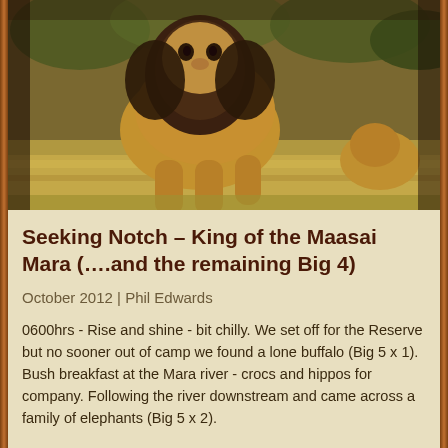[Figure (photo): Close-up photograph of a large male lion with a dark mane standing in savanna grassland, with a smaller lion or cub visible to the right in the background.]
Seeking Notch – King of the Maasai Mara (….and the remaining Big 4)
October 2012 | Phil Edwards
0600hrs - Rise and shine - bit chilly. We set off for the Reserve but no sooner out of camp we found a lone buffalo (Big 5 x 1). Bush breakfast at the Mara river - crocs and hippos for company. Following the river downstream and came across a family of elephants (Big 5 x 2).